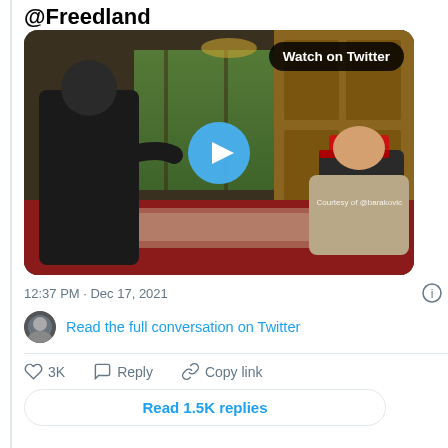@Freedland
[Figure (screenshot): Twitter embedded video thumbnail showing two men in conversation at Mar-a-Lago style interior, with a blue play button overlay and 'Watch on Twitter' badge. One man wears a red MAGA hat.]
12:37 PM · Dec 17, 2021
Read the full conversation on Twitter
3K   Reply   Copy link
Read 1.5K replies